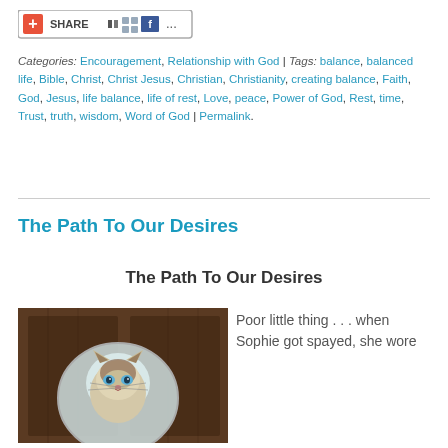[Figure (screenshot): Share button with icons including a red plus/share icon, dark square icon, teal grid icon, Facebook icon, and ellipsis]
Categories: Encouragement, Relationship with God | Tags: balance, balanced life, Bible, Christ, Christ Jesus, Christian, Christianity, creating balance, Faith, God, Jesus, life balance, life of rest, Love, peace, Power of God, Rest, time, Trust, truth, wisdom, Word of God | Permalink.
The Path To Our Desires
The Path To Our Desires
[Figure (photo): A Siamese cat wearing a white cone (Elizabethan collar) after being spayed, sitting in front of a dark wooden cabinet]
Poor little thing . . . when Sophie got spayed, she wore